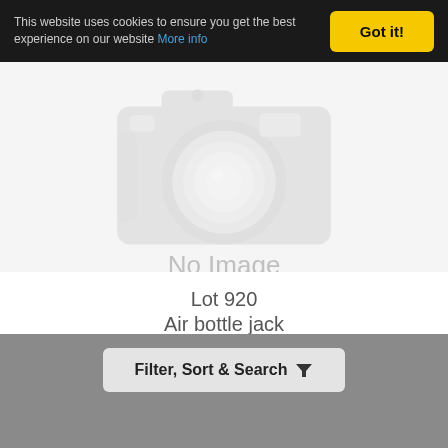This website uses cookies to ensure you get the best experience on our website More info Got it!
[Figure (photo): Faded/placeholder camera image with 'No Image Currently Available' text overlay, indicating no product photo is available]
Lot 920
Air bottle jack
Filter, Sort & Search